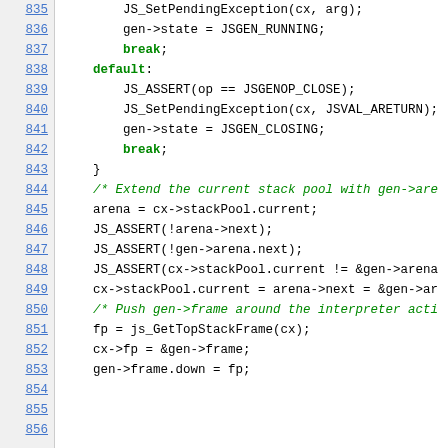[Figure (screenshot): Source code viewer showing C/C++ code lines 835-856 with line numbers on the left side, monospace font, green keywords and comments, black code text. Code shows a switch-case default block and pool/stack operations.]